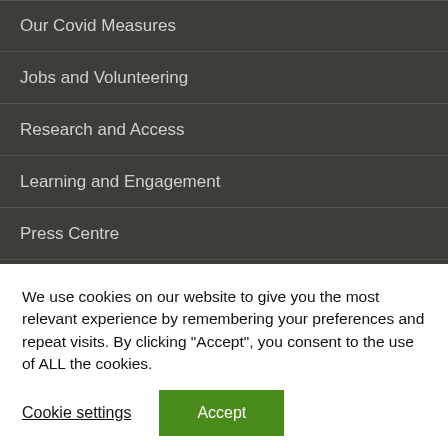Our Covid Measures
Jobs and Volunteering
Research and Access
Learning and Engagement
Press Centre
We use cookies on our website to give you the most relevant experience by remembering your preferences and repeat visits. By clicking “Accept”, you consent to the use of ALL the cookies.
Cookie settings
Accept